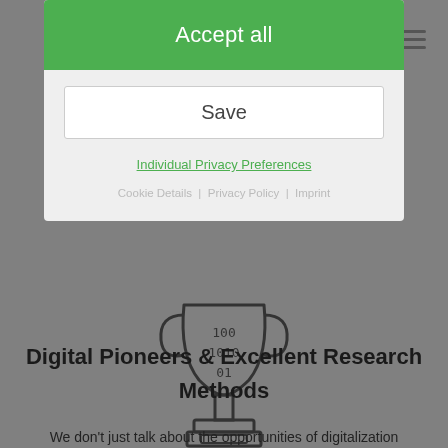[Figure (screenshot): Cookie consent modal overlay on Dialego website. Green 'Accept all' button at top, white 'Save' button below, green 'Individual Privacy Preferences' link, grey 'Cookie Details | Privacy Policy | Imprint' links.]
[Figure (illustration): Trophy/cup icon with binary digits 100, 1010, 01 inside the cup bowl, with a pedestal base. Line-art style in dark color on grey background.]
Digital Pioneers & Excellent Research Methods
We don't just talk about the opportunities of digitalization